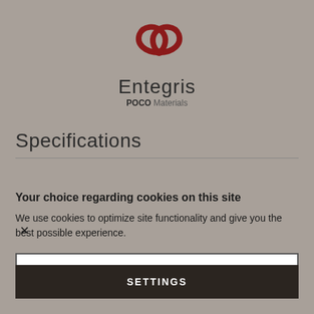[Figure (logo): Entegris POCO Materials logo — dark red looping ribbon icon above 'Entegris' text and 'POCO Materials' subtitle]
Specifications
Your choice regarding cookies on this site
We use cookies to optimize site functionality and give you the best possible experience.
I ACCEPT COOKIES
SETTINGS